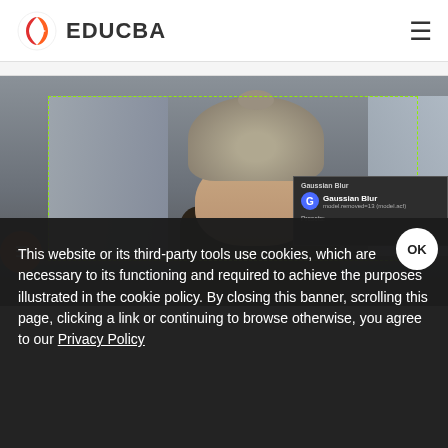EDUCBA
[Figure (screenshot): Screenshot of EDUCBA website showing a Photoshop tutorial page with a photo of a young woman wearing a beanie hat, with a Gaussian Blur panel overlay and a dashed selection border around the image area.]
This website or its third-party tools use cookies, which are necessary to its functioning and required to achieve the purposes illustrated in the cookie policy. By closing this banner, scrolling this page, clicking a link or continuing to browse otherwise, you agree to our Privacy Policy